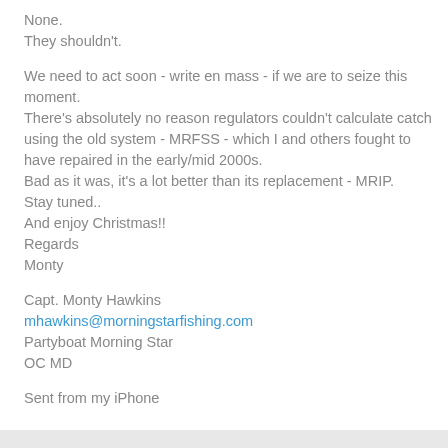None.
They shouldn't.
We need to act soon - write en mass - if we are to seize this moment.
There's absolutely no reason regulators couldn't calculate catch using the old system - MRFSS - which I and others fought to have repaired in the early/mid 2000s.
Bad as it was, it's a lot better than its replacement - MRIP.
Stay tuned..
And enjoy Christmas!!
Regards
Monty
Capt. Monty Hawkins
mhawkins@morningstarfishing.com
Partyboat Morning Star
OC MD
Sent from my iPhone